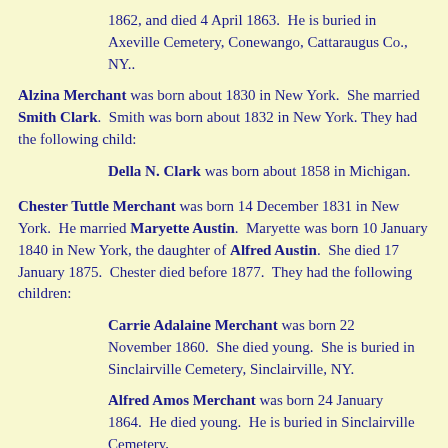1862, and died 4 April 1863.  He is buried in   Axeville Cemetery, Conewango, Cattaraugus Co., NY..
Alzina Merchant was born about 1830 in New York.  She married Smith Clark.  Smith was born about 1832 in New York. They had the following child:
Della N. Clark was born about 1858 in Michigan.
Chester Tuttle Merchant was born 14 December 1831 in New York.  He married Maryette Austin.  Maryette was born 10 January 1840 in New York, the daughter of Alfred Austin.  She died 17 January 1875.  Chester died before 1877.  They had the following children:
Carrie Adalaine Merchant was born 22 November 1860.  She died young.  She is buried in Sinclairville Cemetery, Sinclairville, NY.
Alfred Amos Merchant was born 24 January 1864.  He died young.  He is buried in Sinclairville Cemetery, Sinclairville, NY.